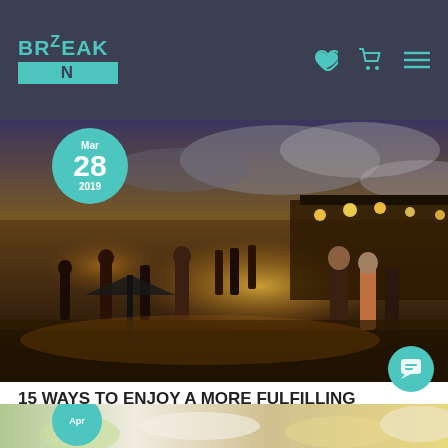BRZEAK N — navigation bar with logo, heart icon, cart icon, menu icon
[Figure (photo): Evening market scene in Marrakech, Morocco — Djemaa el-Fna square at dusk with glowing food stalls, crowds of people, dramatic cloudy sky lit orange and golden]
15 WAYS TO ENJOY A MORE FULFILLING VACATION
Blog / By adminzenbreak
[Figure (photo): Partial image of food/dessert items on a table, with date badge showing Apr]